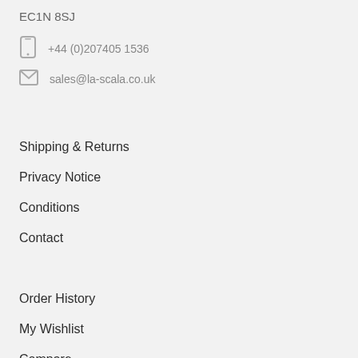EC1N 8SJ
+44 (0)207405 1536
sales@la-scala.co.uk
Shipping & Returns
Privacy Notice
Conditions
Contact
Order History
My Wishlist
Compare
Change Password
Create Account